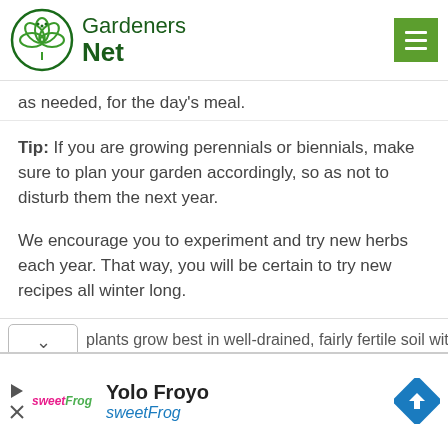Gardeners Net
as needed, for the day's meal.
Tip: If you are growing perennials or biennials, make sure to plan your garden accordingly, so as not to disturb them the next year.
We encourage you to experiment and try new herbs each year. That way, you will be certain to try new recipes all winter long.
plants grow best in well-drained, fairly fertile soil with
[Figure (screenshot): Advertisement banner for Yolo Froyo by sweetFrog with logo and navigation icon]